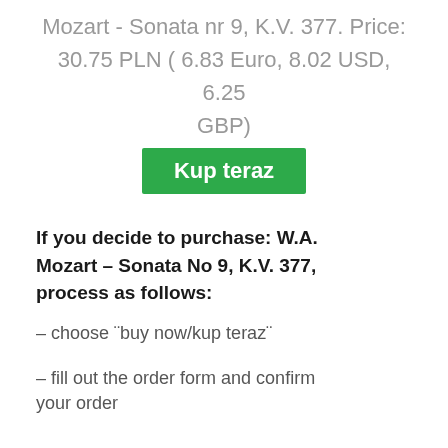Mozart - Sonata nr 9, K.V. 377. Price: 30.75 PLN ( 6.83 Euro, 8.02 USD, 6.25 GBP)
[Figure (other): Green 'Kup teraz' (Buy now) button]
If you decide to purchase: W.A. Mozart – Sonata No 9, K.V. 377, process as follows:
– choose ¨buy now/kup teraz¨
– fill out the order form and confirm your order